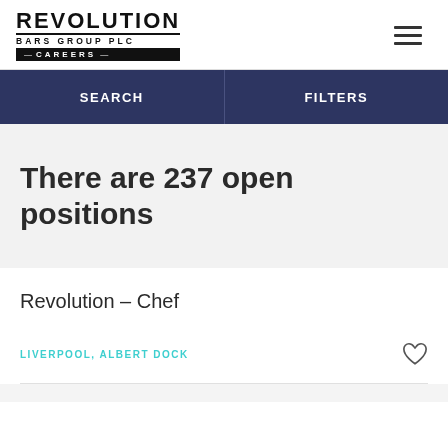REVOLUTION BARS GROUP PLC CAREERS
SEARCH
FILTERS
There are 237 open positions
Revolution – Chef
LIVERPOOL, ALBERT DOCK